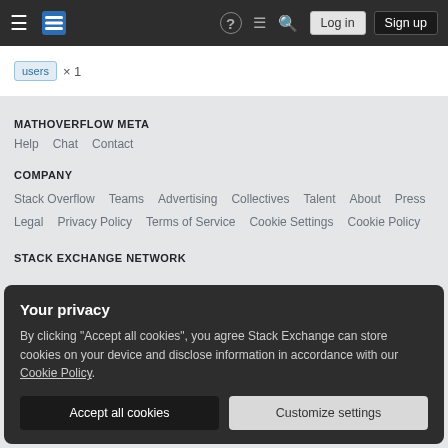Stack Exchange / MathOverflow navigation bar with Log in and Sign up buttons
users × 1
MATHOVERFLOW META
Help  Chat  Contact
COMPANY
Stack Overflow  Teams  Advertising  Collectives  Talent  About  Press  Legal  Privacy Policy  Terms of Service  Cookie Settings  Cookie Policy
STACK EXCHANGE NETWORK
Your privacy
By clicking "Accept all cookies", you agree Stack Exchange can store cookies on your device and disclose information in accordance with our Cookie Policy.
Accept all cookies  Customize settings